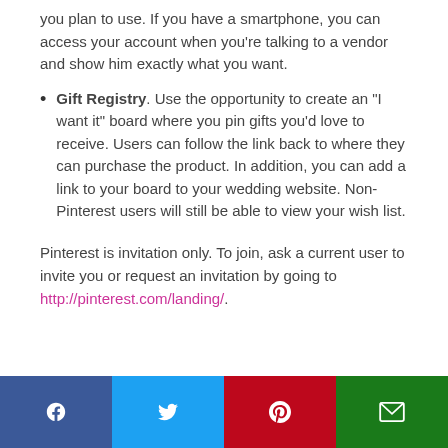you plan to use. If you have a smartphone, you can access your account when you're talking to a vendor and show him exactly what you want.
Gift Registry. Use the opportunity to create an "I want it" board where you pin gifts you'd love to receive. Users can follow the link back to where they can purchase the product. In addition, you can add a link to your board to your wedding website. Non-Pinterest users will still be able to view your wish list.
Pinterest is invitation only. To join, ask a current user to invite you or request an invitation by going to http://pinterest.com/landing/.
Facebook | Twitter | Pinterest | Email